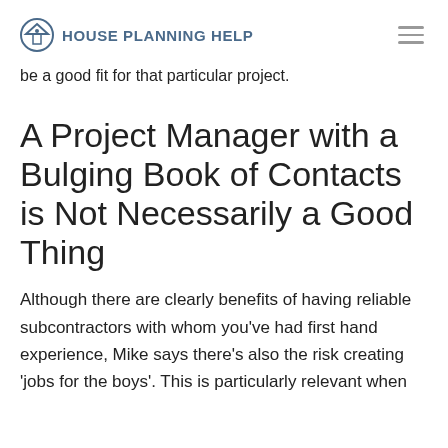House Planning Help
be a good fit for that particular project.
A Project Manager with a Bulging Book of Contacts is Not Necessarily a Good Thing
Although there are clearly benefits of having reliable subcontractors with whom you've had first hand experience, Mike says there's also the risk creating 'jobs for the boys'. This is particularly relevant when